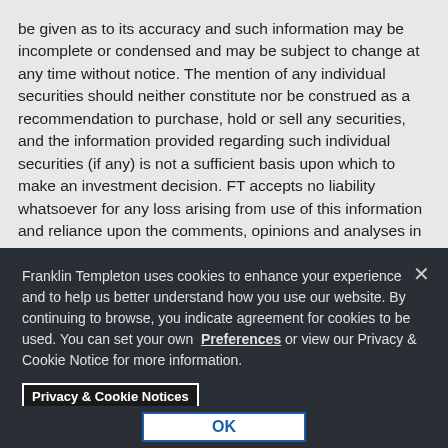be given as to its accuracy and such information may be incomplete or condensed and may be subject to change at any time without notice. The mention of any individual securities should neither constitute nor be construed as a recommendation to purchase, hold or sell any securities, and the information provided regarding such individual securities (if any) is not a sufficient basis upon which to make an investment decision. FT accepts no liability whatsoever for any loss arising from use of this information and reliance upon the comments, opinions and analyses in the material is at the sole discretion of the user.
Products, services and information may not be available in all jurisdictions and are offered outside the U.S. by the FT
Franklin Templeton uses cookies to enhance your experience and to help us better understand how you use our website. By continuing to browse, you indicate agreement for cookies to be used. You can set your own Preferences or view our Privacy & Cookie Notice for more information.
Privacy & Cookie Notices
OK